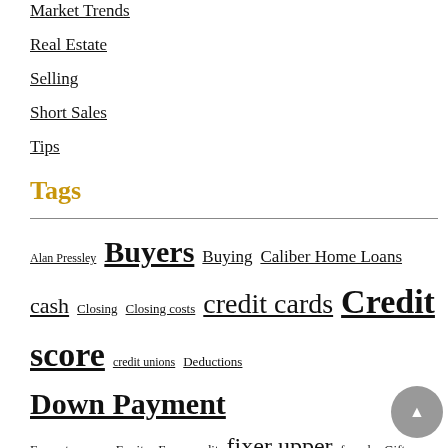Market Trends
Real Estate
Selling
Short Sales
Tips
Tags
Alan Pressley Buyers Buying Caliber Home Loans cash Closing Closing costs credit cards Credit score credit unions Deductions Down Payment Earnest money Equity Farm credit fixer upper for sale Gifts Hamilton county Home Inspection homeowner Housing Data Housing market ibuyers Indiana counties Indianapolis